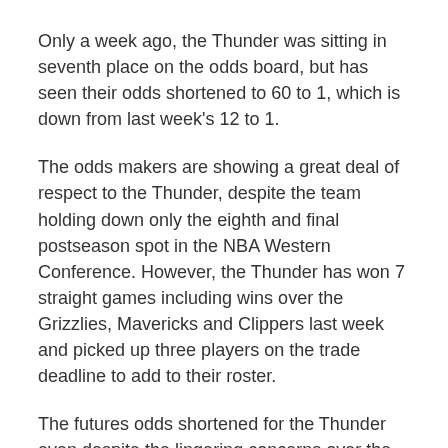Only a week ago, the Thunder was sitting in seventh place on the odds board, but has seen their odds shortened to 60 to 1, which is down from last week's 12 to 1.
The odds makers are showing a great deal of respect to the Thunder, despite the team holding down only the eighth and final postseason spot in the NBA Western Conference. However, the Thunder has won 7 straight games including wins over the Grizzlies, Mavericks and Clippers last week and picked up three players on the trade deadline to add to their roster.
The futures odds shortened for the Thunder even despite the lingering concerns over the health of Kevin Durant who had what was described as a minor procedure to ease some discomfort on his right foot. The